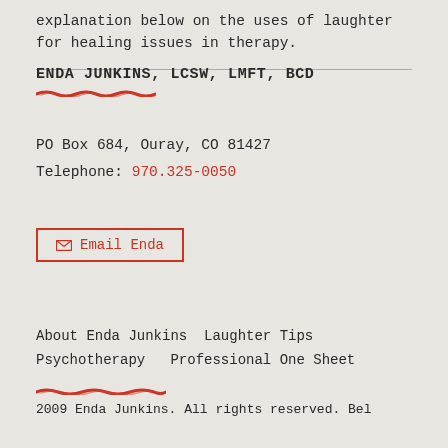explanation below on the uses of laughter for healing issues in therapy.
ENDA JUNKINS, LCSW, LMFT, BCD
PO Box 684, Ouray, CO 81427
Telephone: 970.325-0050
Email Enda
About Enda Junkins  Laughter Tips
Psychotherapy  Professional One Sheet
2009 Enda Junkins. All rights reserved. Bel...